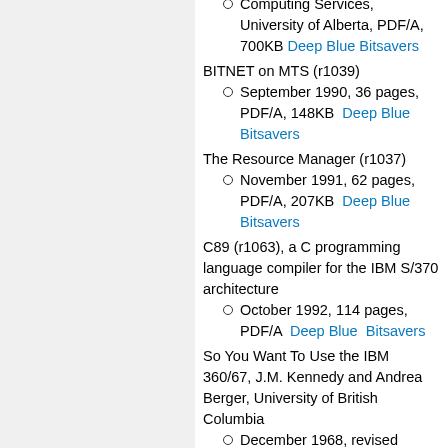Computing Services, University of Alberta, PDF/A, 700KB Deep Blue Bitsavers
BITNET on MTS (r1039)
September 1990, 36 pages, PDF/A, 148KB  Deep Blue Bitsavers
The Resource Manager (r1037)
November 1991, 62 pages, PDF/A, 207KB  Deep Blue Bitsavers
C89 (r1063), a C programming language compiler for the IBM S/370 architecture
October 1992, 114 pages, PDF/A  Deep Blue  Bitsavers
So You Want To Use the IBM 360/67, J.M. Kennedy and Andrea Berger, University of British Columbia
December 1968, revised November 1970, 15 pages, PDF/A, 3.6MB  MTS Archive
MTS Users Guide, NUMAC, University of Newcastle Upon Tyne and University of Durham
December 1978, 140 pages, PDF/A, 26.4MB  MTS Archive
and video